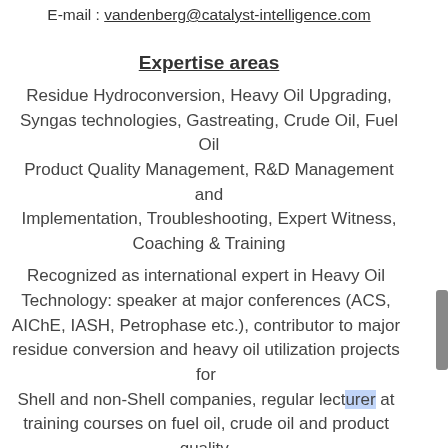E-mail : vandenberg@catalyst-intelligence.com
Expertise areas
Residue Hydroconversion, Heavy Oil Upgrading, Syngas technologies, Gastreating, Crude Oil, Fuel Oil Product Quality Management, R&D Management and Implementation, Troubleshooting, Expert Witness, Coaching & Training
Recognized as international expert in Heavy Oil Technology: speaker at major conferences (ACS, AIChE, IASH, Petrophase etc.), contributor to major residue conversion and heavy oil utilization projects for Shell and non-Shell companies, regular lecturer at training courses on fuel oil, crude oil and product quality, holder of twelve patents, author of more than 65